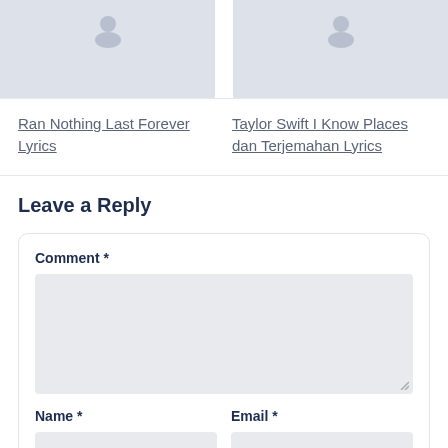[Figure (photo): Two image placeholders side by side at the top of the page, gray background with image icons]
Ran Nothing Last Forever Lyrics
Taylor Swift I Know Places dan Terjemahan Lyrics
Leave a Reply
Comment *
Name *
Email *